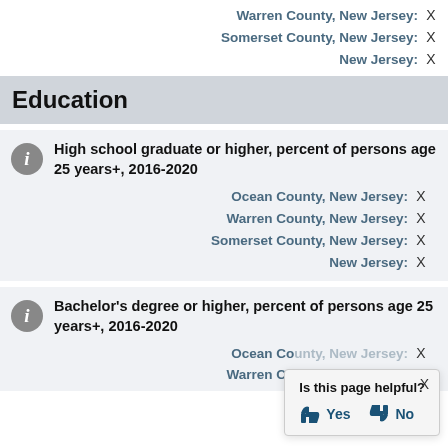Warren County, New Jersey: X
Somerset County, New Jersey: X
New Jersey: X
Education
High school graduate or higher, percent of persons age 25 years+, 2016-2020
Ocean County, New Jersey: X
Warren County, New Jersey: X
Somerset County, New Jersey: X
New Jersey: X
Bachelor's degree or higher, percent of persons age 25 years+, 2016-2020
Ocean County, New Jersey: X
Warren County, New Jersey: X
Is this page helpful? Yes No